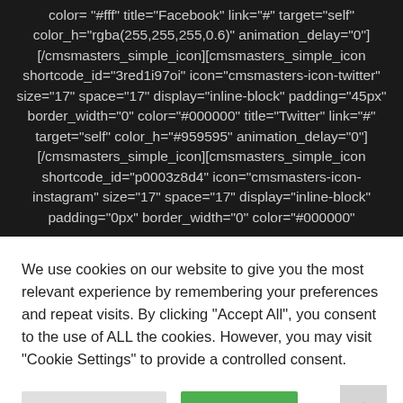color= "#fff" title="Facebook" link="#" target="self" color_h="rgba(255,255,255,0.6)" animation_delay="0"] [/cmsmasters_simple_icon][cmsmasters_simple_icon shortcode_id="3red1i97oi" icon="cmsmasters-icon-twitter" size="17" space="17" display="inline-block" padding="45px" border_width="0" color="#000000" title="Twitter" link="#" target="self" color_h="#959595" animation_delay="0"] [/cmsmasters_simple_icon][cmsmasters_simple_icon shortcode_id="p0003z8d4" icon="cmsmasters-icon-instagram" size="17" space="17" display="inline-block" padding="0px" border_width="0" color="#000000"
We use cookies on our website to give you the most relevant experience by remembering your preferences and repeat visits. By clicking "Accept All", you consent to the use of ALL the cookies. However, you may visit "Cookie Settings" to provide a controlled consent.